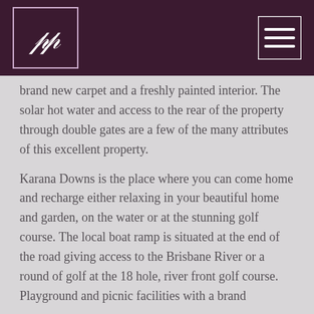PP logo and navigation menu
brand new carpet and a freshly painted interior. The solar hot water and access to the rear of the property through double gates are a few of the many attributes of this excellent property.
Karana Downs is the place where you can come home and recharge either relaxing in your beautiful home and garden, on the water or at the stunning golf course. The local boat ramp is situated at the end of the road giving access to the Brisbane River or a round of golf at the 18 hole, river front golf course. Playground and picnic facilities with a brand